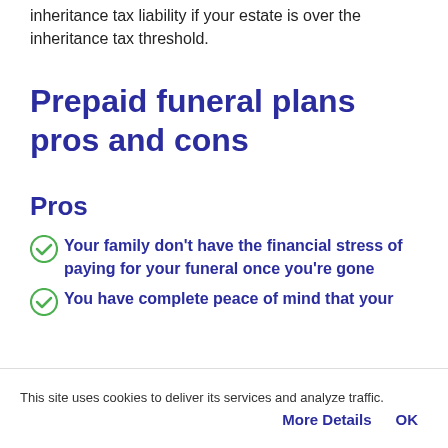inheritance tax liability if your estate is over the inheritance tax threshold.
Prepaid funeral plans pros and cons
Pros
Your family don't have the financial stress of paying for your funeral once you're gone
You have complete peace of mind that your
This site uses cookies to deliver its services and analyze traffic.
More Details    OK